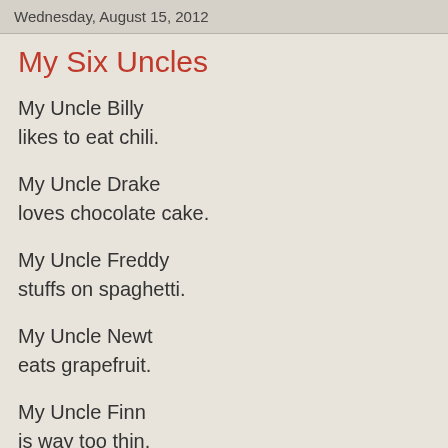Wednesday, August 15, 2012
My Six Uncles
My Uncle Billy
likes to eat chili.
My Uncle Drake
loves chocolate cake.
My Uncle Freddy
stuffs on spaghetti.
My Uncle Newt
eats grapefruit.
My Uncle Finn
is way too thin.
All he eats
is a vitamin.